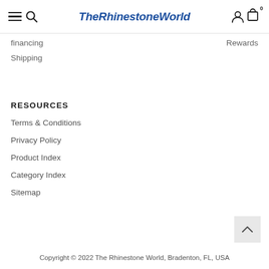TheRhinestoneWorld
financing
Rewards
Shipping
RESOURCES
Terms & Conditions
Privacy Policy
Product Index
Category Index
Sitemap
Copyright © 2022 The Rhinestone World, Bradenton, FL, USA